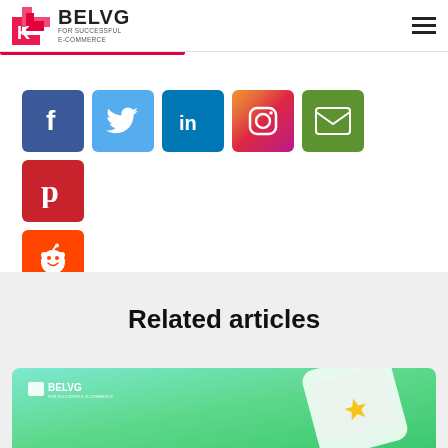[Figure (logo): BelVG logo with red swirl graphic and text 'BELVG FOR SUCCESSFUL E-COMMERCE']
[Figure (infographic): Social media share buttons: Facebook (blue), Twitter (light blue), LinkedIn (dark blue), Instagram (gradient), Email (green), Pinterest (red), Reddit (orange)]
Related articles
[Figure (illustration): BelVG branded article card with teal/green gradient background and phone illustration]